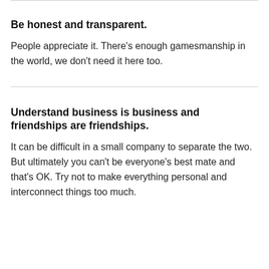Be honest and transparent.
People appreciate it. There’s enough gamesmanship in the world, we don’t need it here too.
Understand business is business and friendships are friendships.
It can be difficult in a small company to separate the two. But ultimately you can’t be everyone’s best mate and that’s OK. Try not to make everything personal and interconnect things too much.